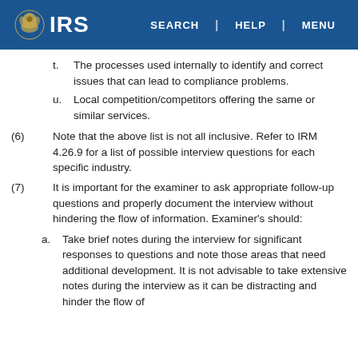IRS SEARCH | HELP | MENU
t. The processes used internally to identify and correct issues that can lead to compliance problems.
u. Local competition/competitors offering the same or similar services.
(6) Note that the above list is not all inclusive. Refer to IRM 4.26.9 for a list of possible interview questions for each specific industry.
(7) It is important for the examiner to ask appropriate follow-up questions and properly document the interview without hindering the flow of information. Examiner's should:
a. Take brief notes during the interview for significant responses to questions and note those areas that need additional development. It is not advisable to take extensive notes during the interview as it can be distracting and hinder the flow of